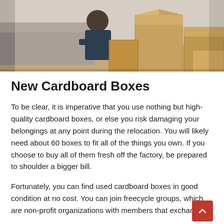[Figure (photo): Person sitting near a couch surrounded by cardboard moving boxes on a wooden floor]
New Cardboard Boxes
To be clear, it is imperative that you use nothing but high-quality cardboard boxes, or else you risk damaging your belongings at any point during the relocation. You will likely need about 60 boxes to fit all of the things you own. If you choose to buy all of them fresh off the factory, be prepared to shoulder a bigger bill.
Fortunately, you can find used cardboard boxes in good condition at no cost. You can join freecycle groups, which are non-profit organizations with members that exchange